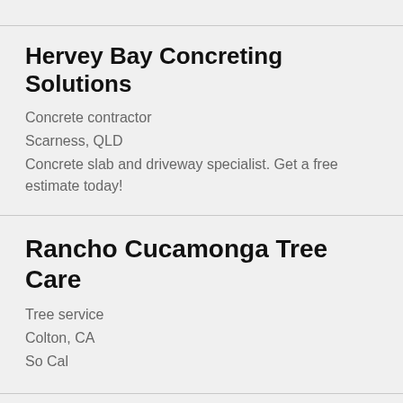Hervey Bay Concreting Solutions
Concrete contractor
Scarness, QLD
Concrete slab and driveway specialist. Get a free estimate today!
Rancho Cucamonga Tree Care
Tree service
Colton, CA
So Cal